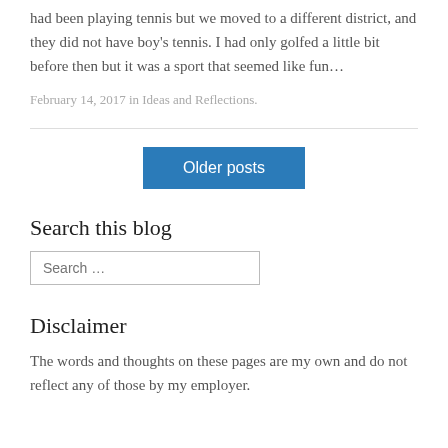had been playing tennis but we moved to a different district, and they did not have boy's tennis.  I had only golfed a little bit before then but it was a sport that seemed like fun…
February 14, 2017 in Ideas and Reflections.
Older posts
Search this blog
Disclaimer
The words and thoughts on these pages are my own and do not reflect any of those by my employer.